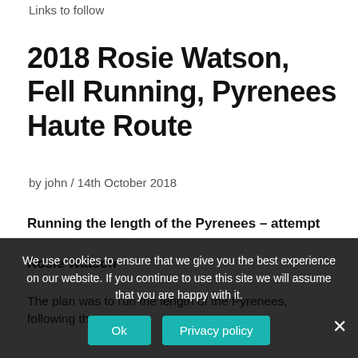Links to follow
2018 Rosie Watson, Fell Running, Pyrenees Haute Route
by john / 14th October 2018
Running the length of the Pyrenees – attempt
Rosie Watson
The plan was to run the length of the Pyrenees, following the
We use cookies to ensure that we give you the best experience on our website. If you continue to use this site we will assume that you are happy with it.